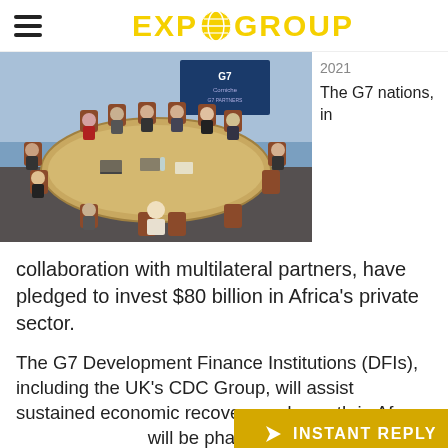EXPOGROUP
[Figure (photo): G7 leaders and officials seated around a large oval conference table in a modern meeting room with a G7 Corniche sign in the background]
The G7 nations, in
collaboration with multilateral partners, have pledged to invest $80 billion in Africa's private sector.
The G7 Development Finance Institutions (DFIs), including the UK's CDC Group, will assist sustained economic recovery and growth in Africa. The investment will be phased in over the